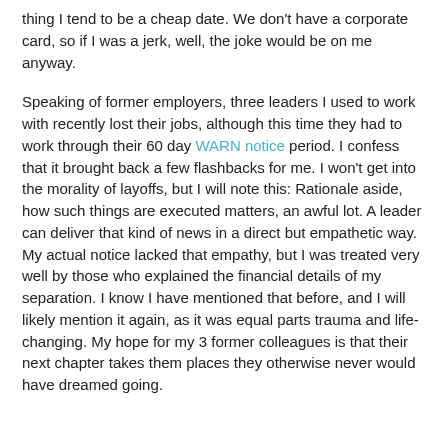thing I tend to be a cheap date.  We don't have a corporate card, so if I was a jerk, well, the joke would be on me anyway.
Speaking of former employers, three leaders I used to work with recently lost their jobs, although this time they had to work through their 60 day WARN notice period.  I confess that it brought back a few flashbacks for me. I won't get into the morality of layoffs, but I will note this: Rationale aside, how such things are executed matters, an awful lot.  A leader can deliver that kind of news in a direct but empathetic way.  My actual notice lacked that empathy, but I was treated very well by those who explained the financial details of my separation.  I know I have mentioned that before, and I will likely mention it again, as it was equal parts trauma and life-changing.  My hope for my 3 former colleagues is that their next chapter takes them places they otherwise never would have dreamed going.